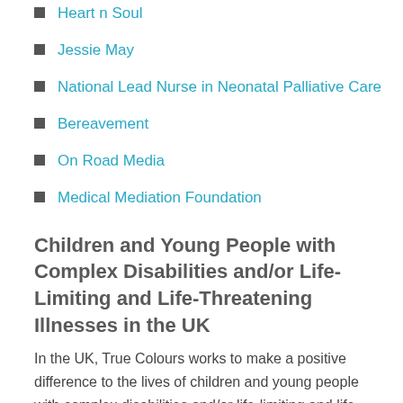Heart n Soul
Jessie May
National Lead Nurse in Neonatal Palliative Care
Bereavement
On Road Media
Medical Mediation Foundation
Children and Young People with Complex Disabilities and/or Life-Limiting and Life-Threatening Illnesses in the UK
In the UK, True Colours works to make a positive difference to the lives of children and young people with complex disabilities and/or life-limiting and life-threatening illnesses. We aim to provide support to enable these